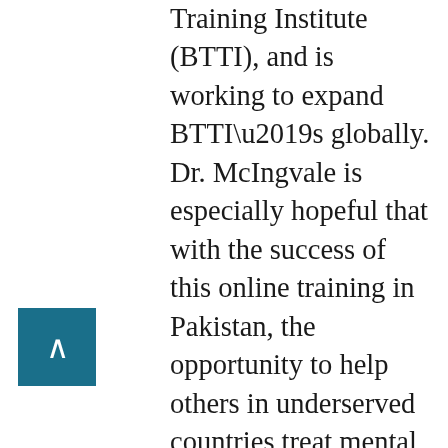Training Institute (BTTI), and is working to expand BTTI’s globally. Dr. McIngvale is especially hopeful that with the success of this online training in Pakistan, the opportunity to help others in underserved countries treat mental illness will become a real possibility: “If we can show that this is an effective training intervention, imagine the global impact that we can have. We’re not just talking about professionals in a mental health clinic that get training, we’re talking about ways that we could train education systems, students, future professionals, future mental health